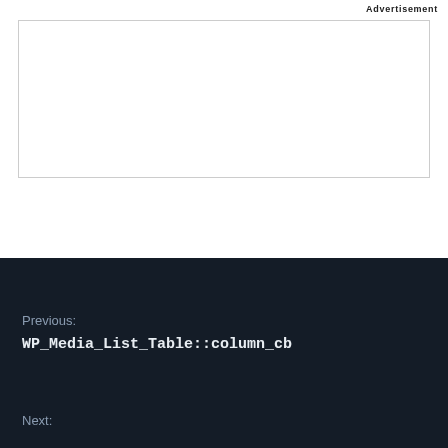Advertisement
[Figure (other): Empty advertisement box with light gray border]
Previous:
WP_Media_List_Table::column_cb
Next: